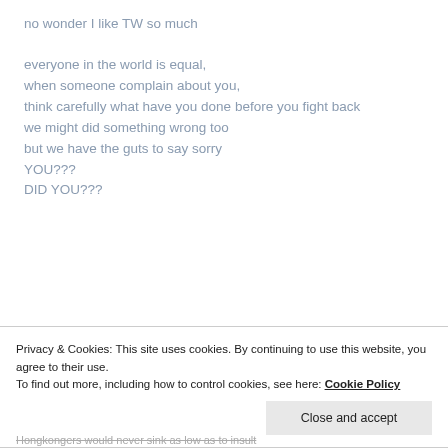no wonder I like TW so much
everyone in the world is equal,
when someone complain about you,
think carefully what have you done before you fight back
we might did something wrong too
but we have the guts to say sorry
YOU???
DID YOU???
Privacy & Cookies: This site uses cookies. By continuing to use this website, you agree to their use.
To find out more, including how to control cookies, see here: Cookie Policy
Close and accept
Hongkongers would never sink as low as to insult